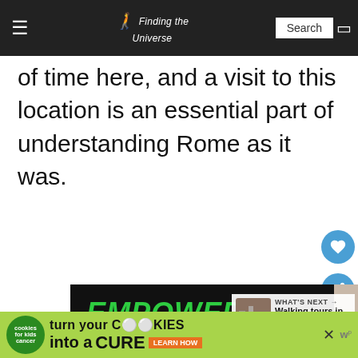Finding the Universe — Search
of time here, and a visit to this location is an essential part of understanding Rome as it was.
[Figure (infographic): Advertisement: Big Brothers Big Sisters 'Empower a Kid in Your Community Today' with photo of adult and child, plus 'What's Next: Walking tours in Rome: Ho...' sidebar]
[Figure (infographic): Advertisement banner: 'turn your COOKIES into a CURE - LEARN HOW' by Cookies for Kids Cancer]